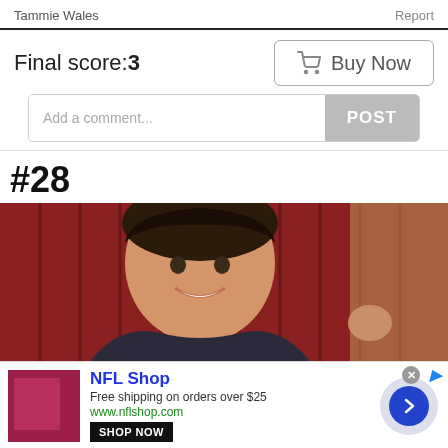Tammie Wales    Report
Final score:3
Buy Now
Add a comment...    POST
#28
[Figure (photo): A young woman smiling at the camera, seated in front of a dark red wood-paneled wall.]
[Figure (infographic): NFL Shop advertisement banner. Shows NFL logo/product in maroon, text 'NFL Shop', 'Free shipping on orders over $25', 'www.nflshop.com', a black 'SHOP NOW' button, and a blue arrow circle button. Has a close X button.]